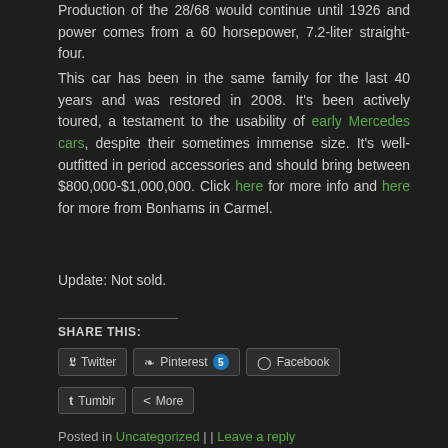Production of the 28/68 would continue until 1926 and power comes from a 60 horsepower, 7.2-liter straight-four.
This car has been in the same family for the last 40 years and was restored in 2008. It's been actively toured, a testament to the usability of early Mercedes cars, despite their sometimes immense size. It's well-outfitted in period accessories and should bring between $800,000-$1,000,000. Click here for more info and here for more from Bonhams in Carmel.
Update: Not sold.
SHARE THIS:
Twitter | Pinterest 5 | Facebook | Tumblr | More
Posted in Uncategorized | | Leave a reply